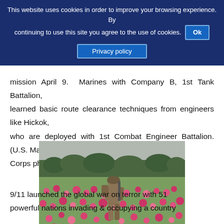This website uses cookies in order to improve your browsing experience. By continuing to use this site you agree to the use of cookies. Ok
Privacy policy
mission April 9. Marines with Company B, 1st Tank Battalion, learned basic route clearance techniques from engineers like Hickok, who are deployed with 1st Combat Engineer Battalion. (U.S. Marine Corps photo by Cpl. John M. McCall)
[Figure (photo): A soldier in combat gear and helmet walking through a field of pink flowers (poppies), with trees visible in the background and an overcast sky.]
9/11 launched the global war on terror with 51 powerful nations invading & occupying a country